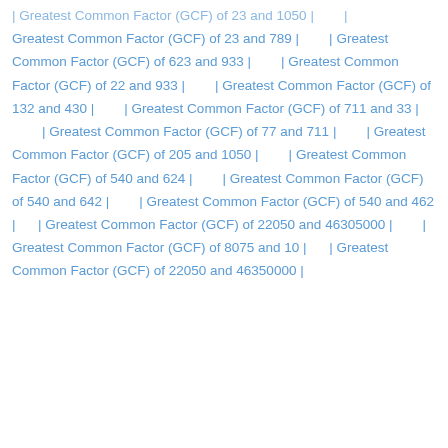| Greatest Common Factor (GCF) of 23 and 1050 |        |
Greatest Common Factor (GCF) of 23 and 789 |        | Greatest Common Factor (GCF) of 623 and 933 |        | Greatest Common Factor (GCF) of 22 and 933 |        | Greatest Common Factor (GCF) of 132 and 430 |        | Greatest Common Factor (GCF) of 711 and 33 |        | Greatest Common Factor (GCF) of 77 and 711 |        | Greatest Common Factor (GCF) of 205 and 1050 |        | Greatest Common Factor (GCF) of 540 and 624 |        | Greatest Common Factor (GCF) of 540 and 642 |        | Greatest Common Factor (GCF) of 540 and 462 |        | Greatest Common Factor (GCF) of 22050 and 46305000 |        | Greatest Common Factor (GCF) of 8075 and 10 |        | Greatest Common Factor (GCF) of 22050 and 46350000 |